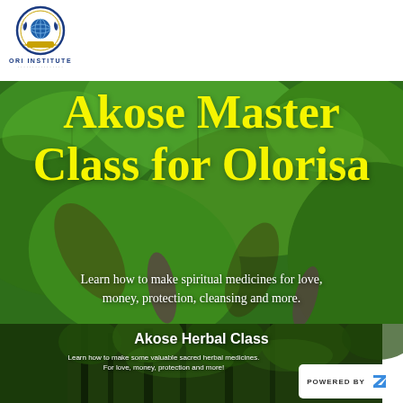[Figure (logo): ORI Institute circular emblem/logo with globe and laurel wreath in blue and gold, with text ORI INSTITUTE below]
[Figure (photo): Background photo of large green tropical leaves filling the hero area, with yellow bold title text 'Akose Master Class for Olorisa' overlaid, and white subtitle text below]
Akose Master Class for Olorisa
Learn how to make spiritual medicines for love, money, protection, cleansing and more.
[Figure (photo): Inset photo at bottom showing dark forest/tree background with 'Akose Herbal Class' title and subtitle text overlay]
Akose Herbal Class
Learn how to make some valuable sacred herbal medicines. For love, money, protection and more!
POWERED BY Z